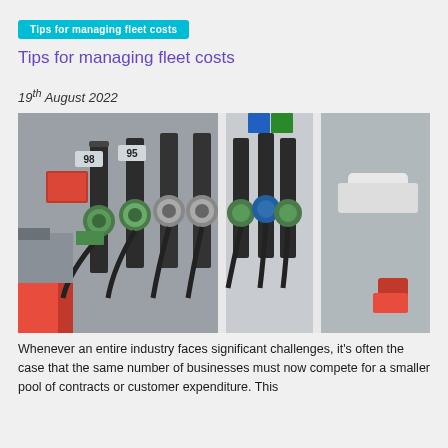Tips for managing fleet costs
19th August 2022
[Figure (photo): Photograph of multiple fuel pump nozzles at a petrol/gas station, showing dispensers labeled 98 and 95, with green, blue, and black handles. Red signage visible on the left and background shows a forecourt.]
Whenever an entire industry faces significant challenges, it's often the case that the same number of businesses must now compete for a smaller pool of contracts or customer expenditure. This